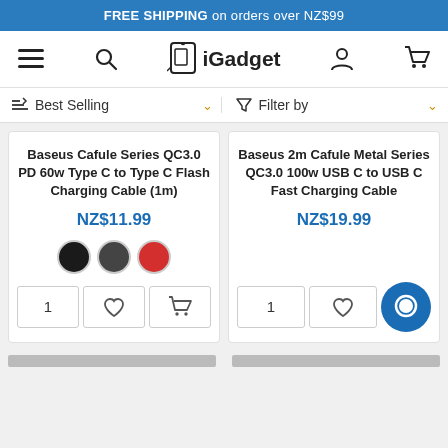FREE SHIPPING on orders over NZ$99
[Figure (screenshot): iGadget website navigation bar with hamburger menu, search, iGadget logo, user account, and cart icons]
Best Selling
Filter by
Baseus Cafule Series QC3.0 PD 60w Type C to Type C Flash Charging Cable (1m)
NZ$11.99
Baseus 2m Cafule Metal Series QC3.0 100w USB C to USB C Fast Charging Cable
NZ$19.99